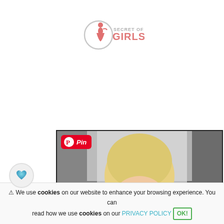[Figure (logo): Secret of Girls logo — silhouette of a woman in a red dress inside a circular outline, with 'SECRET OF GIRLS' text in pink/red]
[Figure (photo): Partially visible photo of a blonde woman with short hair against a blurred black and white background. A red Pinterest 'Pin' badge overlays the top-left corner.]
We use cookies on our website to enhance your browsing experience. You can read how we use cookies on our PRIVACY POLICY OK!